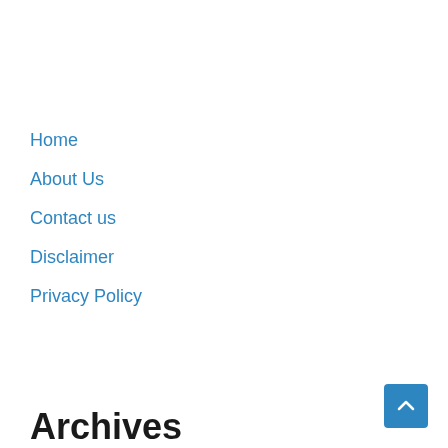Home
About Us
Contact us
Disclaimer
Privacy Policy
Archives